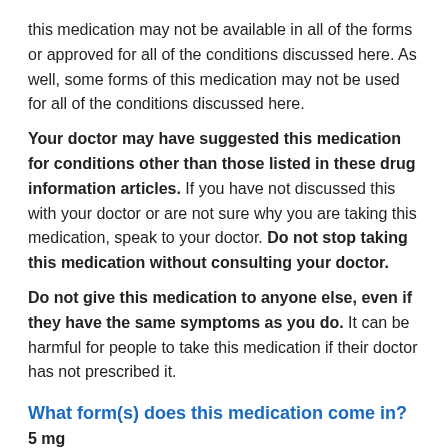this medication may not be available in all of the forms or approved for all of the conditions discussed here. As well, some forms of this medication may not be used for all of the conditions discussed here.
Your doctor may have suggested this medication for conditions other than those listed in these drug information articles. If you have not discussed this with your doctor or are not sure why you are taking this medication, speak to your doctor. Do not stop taking this medication without consulting your doctor.
Do not give this medication to anyone else, even if they have the same symptoms as you do. It can be harmful for people to take this medication if their doctor has not prescribed it.
What form(s) does this medication come in?
5 mg
Each buff, shield-shaped, coated tablet debossed with "5" on